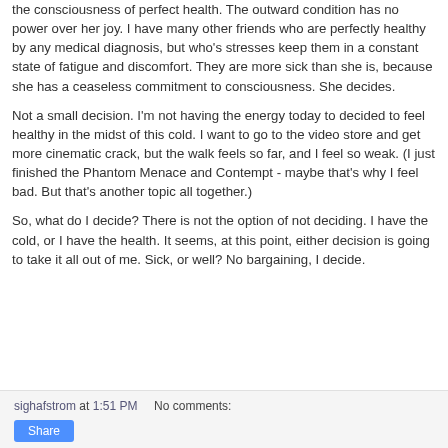the consciousness of perfect health. The outward condition has no power over her joy. I have many other friends who are perfectly healthy by any medical diagnosis, but who's stresses keep them in a constant state of fatigue and discomfort. They are more sick than she is, because she has a ceaseless commitment to consciousness. She decides.
Not a small decision. I'm not having the energy today to decided to feel healthy in the midst of this cold. I want to go to the video store and get more cinematic crack, but the walk feels so far, and I feel so weak. (I just finished the Phantom Menace and Contempt - maybe that's why I feel bad. But that's another topic all together.)
So, what do I decide? There is not the option of not deciding. I have the cold, or I have the health. It seems, at this point, either decision is going to take it all out of me. Sick, or well? No bargaining, I decide.
sighafstrom at 1:51 PM    No comments: